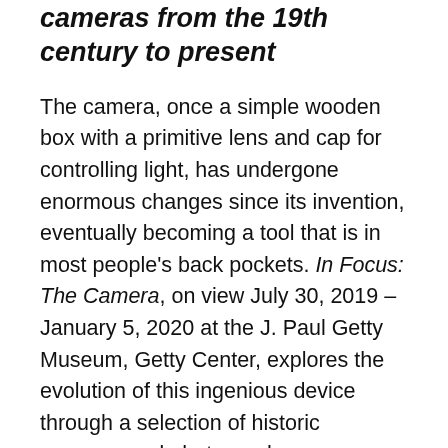cameras from the 19th century to present
The camera, once a simple wooden box with a primitive lens and cap for controlling light, has undergone enormous changes since its invention, eventually becoming a tool that is in most people's back pockets. In Focus: The Camera, on view July 30, 2019 – January 5, 2020 at the J. Paul Getty Museum, Getty Center, explores the evolution of this ingenious device through a selection of historic cameras and photographs.
During the early 19th, the three essential components of photography – a dark chamber, a light-sensitive substrate, and a method of fixing the image – were used in different ways in the experiments of Nicéphore Niépce (French, 1765-1833), Louis-Jacques-Mandé Daguerre (French, 1787-1851), and William Henry Fox Talbot (British, 1800-